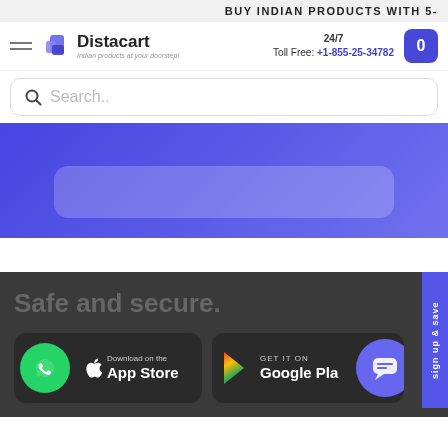BUY INDIAN PRODUCTS WITH 5-
[Figure (logo): Distacart logo with shopping bag icon and tagline 'Indian products at your doorstep!']
24/7 Toll Free: +1-855-25-34782
Search..
[Figure (other): Blue gradient banner section with a rounded rectangle placeholder]
Safe and secure.
[Figure (other): WhatsApp icon circle + Download on the App Store button]
[Figure (other): GET IT ON Google Play button with Google Play triangle icon]
sign up & save